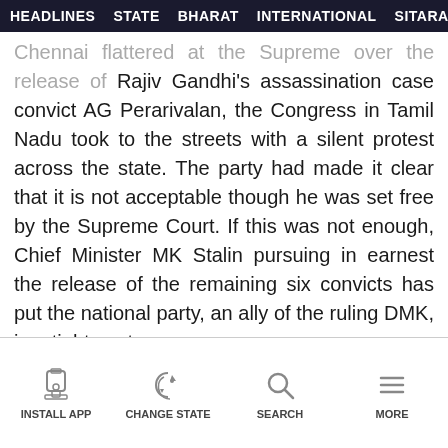HEADLINES  STATE  BHARAT  INTERNATIONAL  SITARA  GA...
Chennai flattered at the Supreme over the release of Rajiv Gandhi's assassination case convict AG Perarivalan, the Congress in Tamil Nadu took to the streets with a silent protest across the state. The party had made it clear that it is not acceptable though he was set free by the Supreme Court. If this was not enough, Chief Minister MK Stalin pursuing in earnest the release of the remaining six convicts has put the national party, an ally of the ruling DMK, in a tight spot.
INSTALL APP   CHANGE STATE   SEARCH   MORE